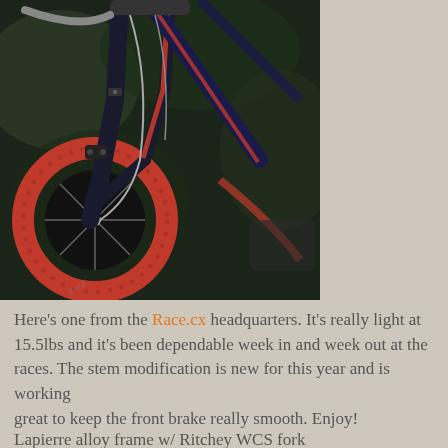[Figure (photo): Close-up photograph of a cyclocross bicycle showing the front fork, red tire, black frame, handlebar cables, and brake components against a dark green/bokeh background. The bicycle has red tires and a dark navy/black frame.]
Here's one from the Race.cx headquarters. It's really light at 15.5lbs and it's been dependable week in and week out at the races. The stem modification is new for this year and is working
great to keep the front brake really smooth. Enjoy!
Lapierre alloy frame w/ Ritchey WCS fork